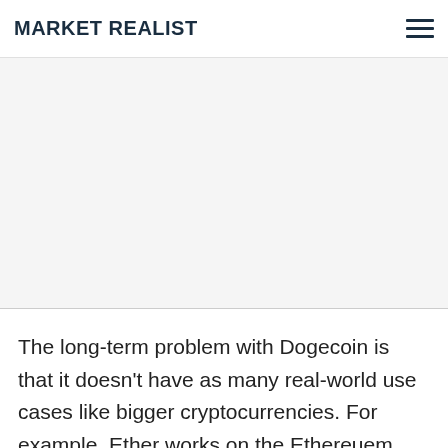MARKET REALIST
[Figure (other): Advertisement / blank gray area placeholder]
The long-term problem with Dogecoin is that it doesn't have as many real-world use cases like bigger cryptocurrencies. For example, Ether works on the Ethereuem blockchain and is used to facilitate smart